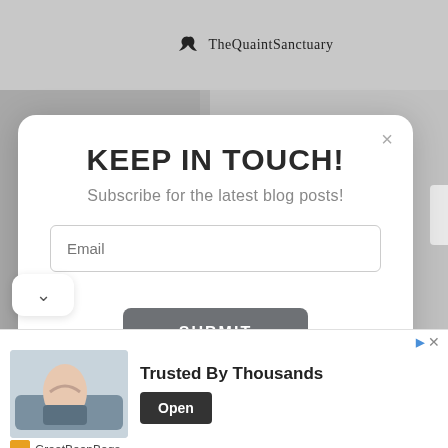[Figure (screenshot): Website screenshot of TheQuaintSanctuary blog with a modal popup overlay showing a newsletter subscription form]
KEEP IN TOUCH!
Subscribe for the latest blog posts!
Email
SUBMIT
[Figure (screenshot): Advertisement banner for GreatBeanBags showing a woman on a sofa with text 'Trusted By Thousands' and an Open button]